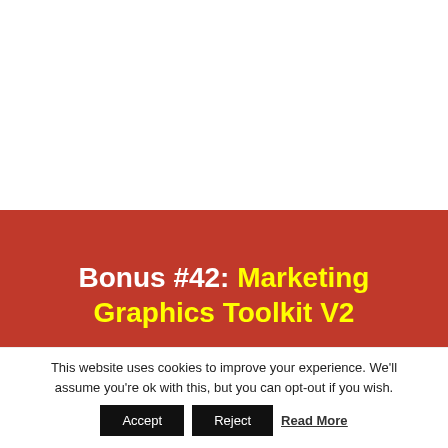Bonus #42: Marketing Graphics Toolkit V2
[Figure (screenshot): Screenshot strip showing a marketing graphics toolkit preview with attention text and blue graphic elements]
This website uses cookies to improve your experience. We'll assume you're ok with this, but you can opt-out if you wish.